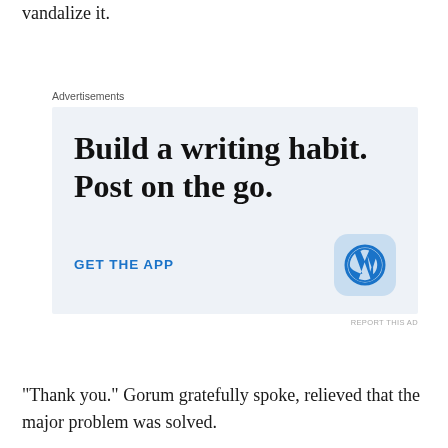vandalize it.
[Figure (other): WordPress advertisement: 'Build a writing habit. Post on the go.' with 'GET THE APP' call to action and WordPress logo icon on light blue background.]
“Thank you.” Gorum gratefully spoke, relieved that the major problem was solved.